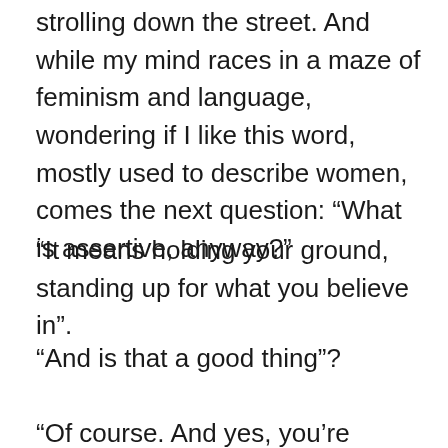strolling down the street. And while my mind races in a maze of feminism and language, wondering if I like this word, mostly used to describe women, comes the next question: “What is assertive, anyway?”
“It means holding your ground, standing up for what you believe in”.
“And is that a good thing”?
“Of course. And yes, you’re assertive”